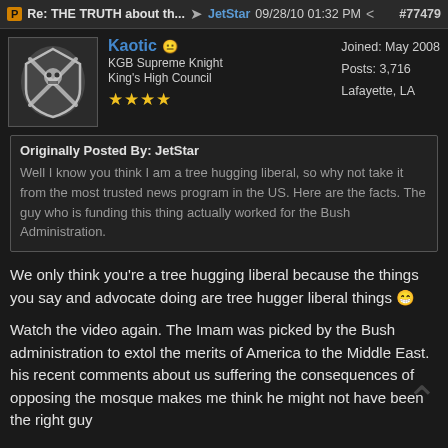Re: THE TRUTH about th... → JetStar 09/28/10 01:32 PM #77479
Kaotic
KGB Supreme Knight
King's High Council
★★★★
Joined: May 2008
Posts: 3,716
Lafayette, LA
Originally Posted By: JetStar
Well I know you think I am a tree hugging liberal, so why not take it from the most trusted news program in the US. Here are the facts. The guy who is funding this thing actually worked for the Bush Administration.
We only think you're a tree hugging liberal because the things you say and advocate doing are tree hugger liberal things 😁
Watch the video again. The Imam was picked by the Bush administration to extol the merits of America to the Middle East. his recent comments about us suffering the consequences of opposing the mosque makes me think he might not have been the right guy